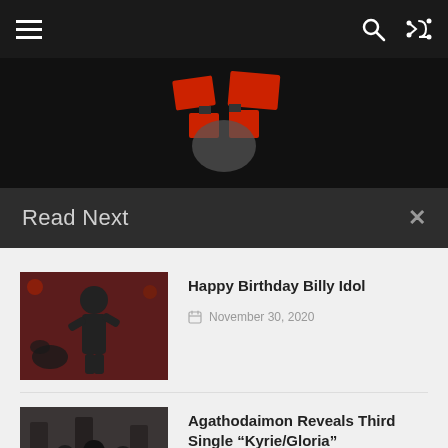Navigation bar with hamburger menu, search and shuffle icons
[Figure (logo): Red stylized logo on dark background]
Read Next
[Figure (photo): Black and white photo of a performer on stage with red lighting]
Happy Birthday Billy Idol
November 30, 2020
[Figure (photo): Group photo of Agathodaimon band members in black clothing]
Agathodaimon Reveals Third Single “Kyrie/Gloria”
March 15, 2022